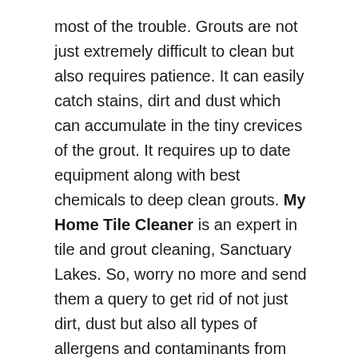most of the trouble. Grouts are not just extremely difficult to clean but also requires patience. It can easily catch stains, dirt and dust which can accumulate in the tiny crevices of the grout. It requires up to date equipment along with best chemicals to deep clean grouts. My Home Tile Cleaner is an expert in tile and grout cleaning, Sanctuary Lakes. So, worry no more and send them a query to get rid of not just dirt, dust but also all types of allergens and contaminants from your grouts.
Services we offer – Tile and Grout Cleaning, Sanctuary Lakes
We have an expertise in all kinds of tile and grout cleaning services. Our wide area of network covers not just Sanctuary Lakes but the whole of Australia. You